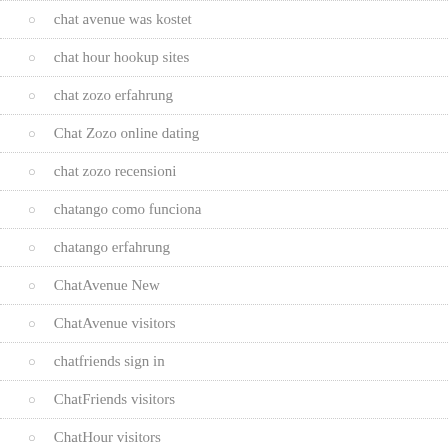chat avenue was kostet
chat hour hookup sites
chat zozo erfahrung
Chat Zozo online dating
chat zozo recensioni
chatango como funciona
chatango erfahrung
ChatAvenue New
ChatAvenue visitors
chatfriends sign in
ChatFriends visitors
ChatHour visitors